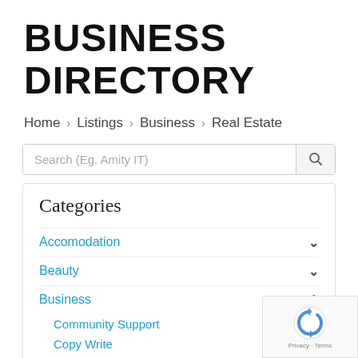BUSINESS DIRECTORY
Home > Listings > Business > Real Estate
Search (Eg. Amity IT)
Categories
Accomodation
Beauty
Business
Community Support
Copy Write
Hot Desks
Insurance